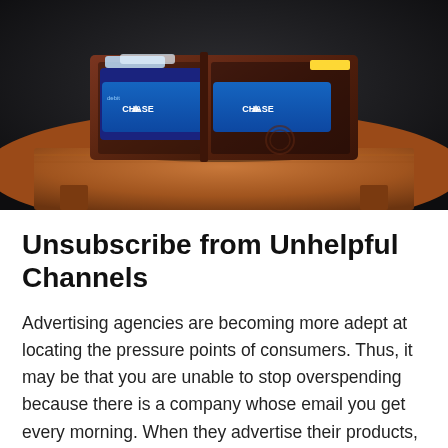[Figure (photo): A brown leather bifold wallet open on a wooden table, showing Chase credit/debit cards in both card slots, against a dark background.]
Unsubscribe from Unhelpful Channels
Advertising agencies are becoming more adept at locating the pressure points of consumers. Thus, it may be that you are unable to stop overspending because there is a company whose email you get every morning. When they advertise their products, you find yourself instinctively clicking and spending.